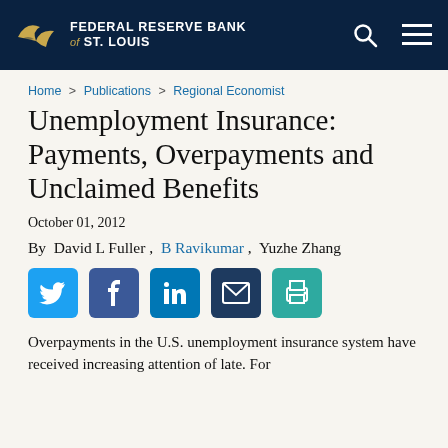FEDERAL RESERVE BANK of ST. LOUIS
Home > Publications > Regional Economist
Unemployment Insurance: Payments, Overpayments and Unclaimed Benefits
October 01, 2012
By  David L Fuller ,  B Ravikumar ,  Yuzhe Zhang
[Figure (infographic): Social sharing buttons: Twitter, Facebook, LinkedIn, Email, Print]
Overpayments in the U.S. unemployment insurance system have received increasing attention of late. For